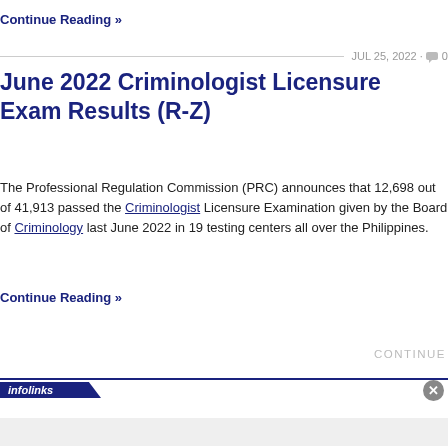Continue Reading »
JUL 25, 2022 · 💬 0
June 2022 Criminologist Licensure Exam Results (R-Z)
The Professional Regulation Commission (PRC) announces that 12,698 out of 41,913 passed the Criminologist Licensure Examination given by the Board of Criminology last June 2022 in 19 testing centers all over the Philippines.
Continue Reading »
CONTINUE
[Figure (other): Infolinks advertisement banner with close button]